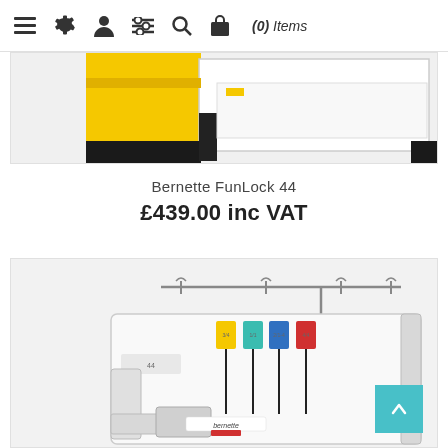(0) Items
[Figure (photo): Partial top view of a Bernette FunLock 44 sewing/overlocker machine with yellow and white body and black accents]
Bernette FunLock 44
£439.00 inc VAT
[Figure (photo): Front view of a Bernette FunLock 44 overlocker/serger machine in white with colorful thread guides (yellow, teal, blue, red) and a thread stand bar on top. The Bernette logo is visible on the front.]